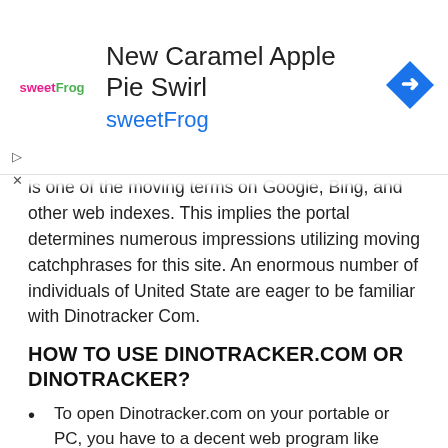[Figure (screenshot): Advertisement banner for sweetFrog 'New Caramel Apple Pie Swirl' with sweetFrog logo, navigation arrow icon, and ad controls]
is one of the moving terms on Google, Bing, and other web indexes. This implies the portal determines numerous impressions utilizing moving catchphrases for this site. An enormous number of individuals of United State are eager to be familiar with Dinotracker Com.
HOW TO USE DINOTRACKER.COM OR DINOTRACKER?
To open Dinotracker.com on your portable or PC, you have to a decent web program like Google Chrome.
Simply open your number one program and enter the http://Dinotracker.com in the location bar.
After this, hit enter button.
Utilizing this activity, you can undoubtedly get to your #1 site Dinotracker.com.